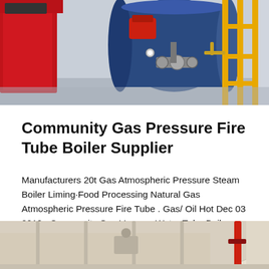[Figure (photo): Industrial gas pressure fire tube boiler system with red casing on the left, blue cylindrical boiler in the center, yellow metal framework on the right, and various pipes and valves visible]
Community Gas Pressure Fire Tube Boiler Supplier
Manufacturers 20t Gas Atmospheric Pressure Steam Boiler Liming·Food Processing Natural Gas Atmospheric Pressure Fire Tube . Gas/ Oil Hot Dec 03 2019 · Community Gas Vacuum Water Tube Boiler Supplier. Ge...
[Figure (photo): Partial view of an industrial boiler interior or exterior, showing beige/cream curved surfaces with pipes visible on the right side]